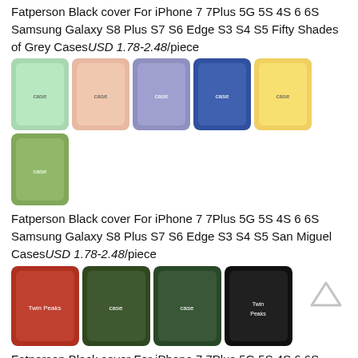Fatperson Black cover For iPhone 7 7Plus 5G 5S 4S 6 6S Samsung Galaxy S8 Plus S7 S6 Edge S3 S4 S5 Fifty Shades of Grey Cases USD 1.78-2.48/piece
[Figure (photo): Grid of 6 phone cases with colorful artistic designs for Fifty Shades of Grey themed cases]
Fatperson Black cover For iPhone 7 7Plus 5G 5S 4S 6 6S Samsung Galaxy S8 Plus S7 S6 Edge S3 S4 S5 San Miguel Cases USD 1.78-2.48/piece
[Figure (photo): Grid of 4 phone cases with San Miguel themed designs]
Fatperson Black cover For iPhone 7 7Plus 5G 5S 4S 6 6S Samsung Galaxy S8 Plus S7 S6 Edge S3 S4 S5 Welcome To Twin Peaks Cases USD 1.78-2.48/piece